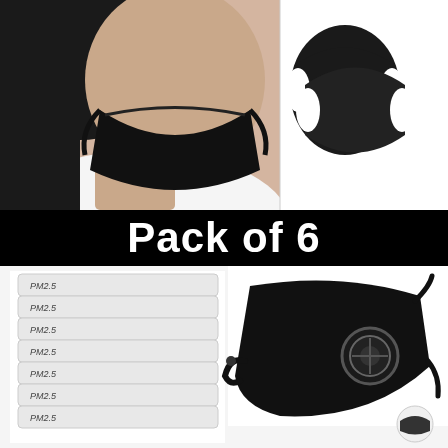[Figure (photo): Product photo collage - top section shows a woman wearing a black face mask on left, and two black face masks laid flat on right against white background]
Pack of 6
[Figure (photo): Bottom section shows a stack of PM2.5 filter inserts on the left (7 filters labeled PM2.5), and a black face mask with breathing valve and adjustable straps on the right]